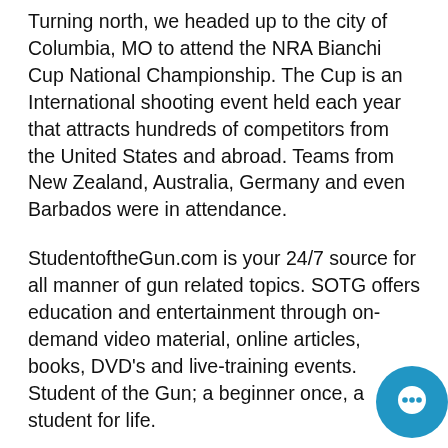Turning north, we headed up to the city of Columbia, MO to attend the NRA Bianchi Cup National Championship. The Cup is an International shooting event held each year that attracts hundreds of competitors from the United States and abroad. Teams from New Zealand, Australia, Germany and even Barbados were in attendance.
StudentoftheGun.com is your 24/7 source for all manner of gun related topics. SOTG offers education and entertainment through on-demand video material, online articles, books, DVD's and live-training events. Student of the Gun; a beginner once, a student for life.
Being a Student of the Gun is not about being a novice or beginner. Student of the Gun represents a life's journey of education, enlightenment, and the enjoyment of firearms.